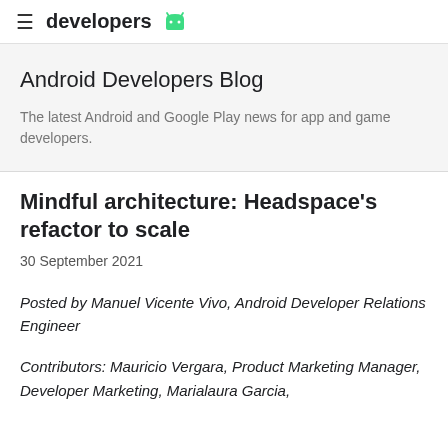≡ developers 🤖
Android Developers Blog
The latest Android and Google Play news for app and game developers.
Mindful architecture: Headspace's refactor to scale
30 September 2021
Posted by Manuel Vicente Vivo, Android Developer Relations Engineer
Contributors: Mauricio Vergara, Product Marketing Manager, Developer Marketing, Marialaura Garcia,